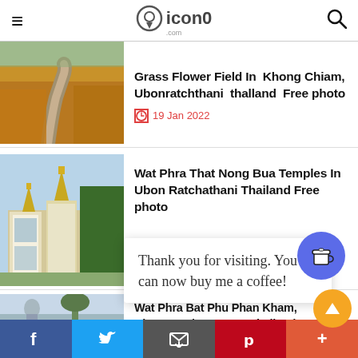icon0.com
Grass Flower Field In Khong Chiam, Ubonratchthani thailand Free photo
19 Jan 2022
[Figure (photo): Grass flower field with stream path through orange and green grasses]
Wat Phra That Nong Bua Temples In Ubon Ratchathani Thailand Free photo
[Figure (photo): Golden and white ornate temple spires against blue sky]
Thank you for visiting. You can now buy me a coffee!
Wat Phra Bat Phu Phan Kham, Ubonrat, Khon Kaen, Thailand ...
[Figure (photo): Partially visible Buddha statue and temple]